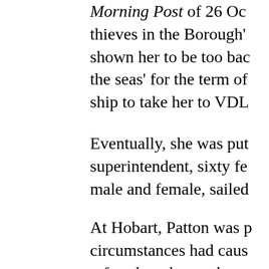Morning Post of 26 Oct thieves in the Borough' shown her to be too bad the seas' for the term of ship to take her to VDL
Eventually, she was put superintendent, sixty fe male and female, sailed
At Hobart, Patton was p circumstances had caus refused to obey orders, by urging members of t fellow prisoners to decl women, and ignored by of the ship.[8] Patton's Esq., who was on his w